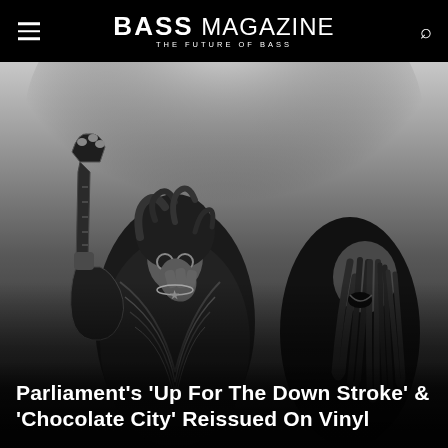BASS MAGAZINE — THE FUTURE OF BASS
[Figure (photo): Black and white photograph of two musicians on stage, one holding a bass guitar with an ornate headstock, wearing a patterned jacket and round glasses, with another person visible on the right with dreadlocks.]
Parliament's 'Up For The Down Stroke' & 'Chocolate City' Reissued On Vinyl